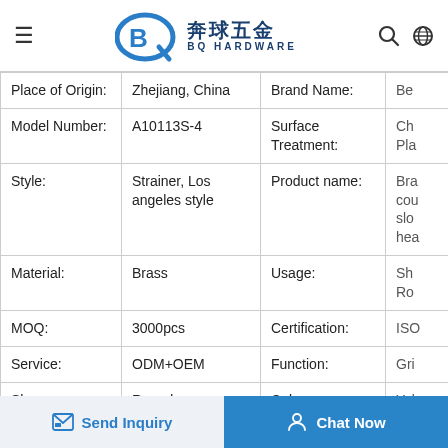BQ Hardware / 奔球五金
| Place of Origin: | Zhejiang, China | Brand Name: | Be… |
| --- | --- | --- | --- |
| Model Number: | A10113S-4 | Surface Treatment: | Ch Pla… |
| Style: | Strainer, Los angeles style | Product name: | Bra cou slo hea… |
| Material: | Brass | Usage: | Sh Ro… |
| MOQ: | 3000pcs | Certification: | ISO… |
| Service: | ODM+OEM | Function: | Gri… |
| Shape: | Round | Color: | Yel… |
Send Inquiry
Chat Now